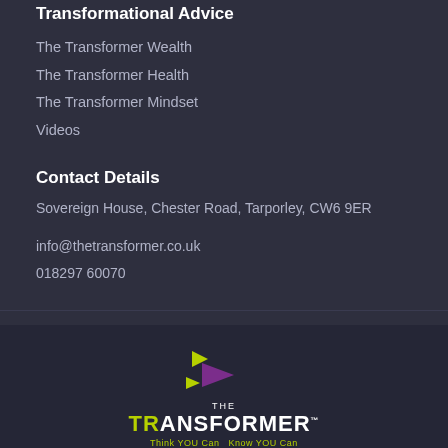Transformational Advice
The Transformer Wealth
The Transformer Health
The Transformer Mindset
Videos
Contact Details
Sovereign House, Chester Road, Tarporley, CW6 9ER
info@thetransformer.co.uk
018297 60070
[Figure (logo): The Transformer logo with coloured arrow shapes and tagline 'Think YOU Can Know YOU Can']
Terms & Conditions
Privacy Policy
Website by SmartaStudio